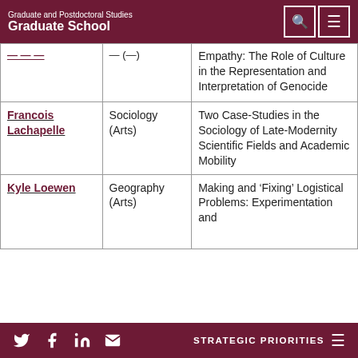Graduate and Postdoctoral Studies
Graduate School
| Name | Department | Thesis Title |
| --- | --- | --- |
| [partial] | [partial] | Empathy: The Role of Culture in the Representation and Interpretation of Genocide |
| Francois Lachapelle | Sociology (Arts) | Two Case-Studies in the Sociology of Late-Modernity Scientific Fields and Academic Mobility |
| Kyle Loewen | Geography (Arts) | Making and 'Fixing' Logistical Problems: Experimentation and... |
STRATEGIC PRIORITIES